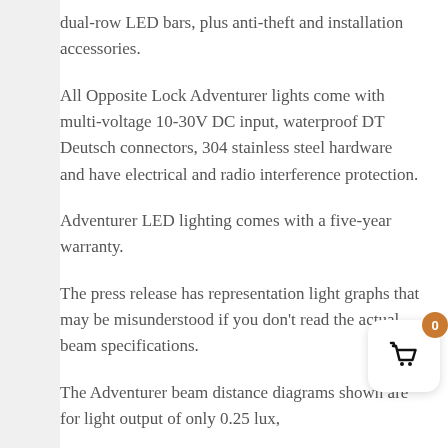dual-row LED bars, plus anti-theft and installation accessories.
All Opposite Lock Adventurer lights come with multi-voltage 10-30V DC input, waterproof DT Deutsch connectors, 304 stainless steel hardware and have electrical and radio interference protection.
Adventurer LED lighting comes with a five-year warranty.
The press release has representation light graphs that may be misunderstood if you don't read the actual beam specifications.
The Adventurer beam distance diagrams shown are for light output of only 0.25 lux,